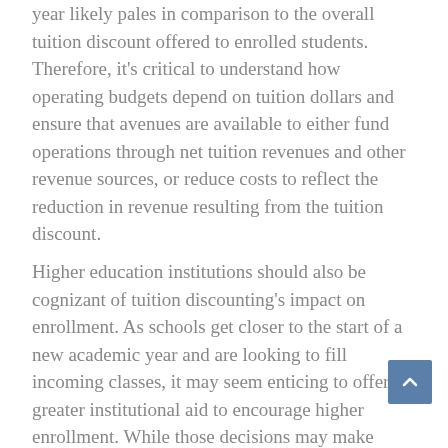year likely pales in comparison to the overall tuition discount offered to enrolled students. Therefore, it's critical to understand how operating budgets depend on tuition dollars and ensure that avenues are available to either fund operations through net tuition revenues and other revenue sources, or reduce costs to reflect the reduction in revenue resulting from the tuition discount.
Higher education institutions should also be cognizant of tuition discounting's impact on enrollment. As schools get closer to the start of a new academic year and are looking to fill incoming classes, it may seem enticing to offer greater institutional aid to encourage higher enrollment. While those decisions may make short-term sense (it would be better to bring in 30 cents on the dollar